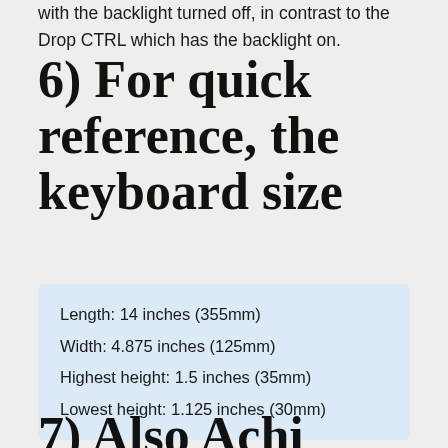with the backlight turned off, in contrast to the Drop CTRL which has the backlight on.
6) For quick reference, the keyboard size
Length: 14 inches (355mm)
Width: 4.875 inches (125mm)
Highest height: 1.5 inches (35mm)
Lowest height: 1.125 inches (30mm)
7) Also Achi...